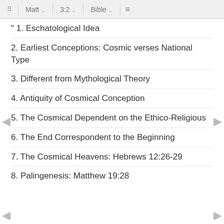Matt 3:2 Bible
" 1. Eschatological Idea
2. Earliest Conceptions: Cosmic verses National Type
3. Different from Mythological Theory
4. Antiquity of Cosmical Conception
5. The Cosmical Dependent on the Ethico-Religious
6. The End Correspondent to the Beginning
7. The Cosmical Heavens: Hebrews 12:26-29
8. Palingenesis: Matthew 19:28